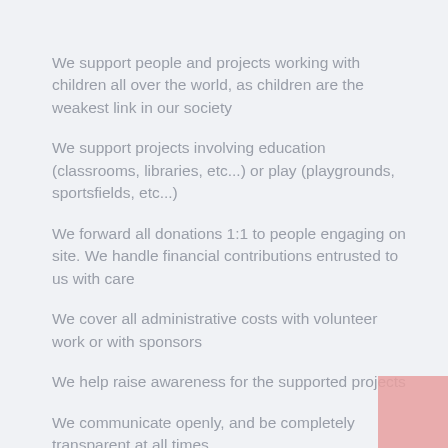We support people and projects working with children all over the world, as children are the weakest link in our society
We support projects involving education (classrooms, libraries, etc...) or play (playgrounds, sportsfields, etc...)
We forward all donations 1:1 to people engaging on site. We handle financial contributions entrusted to us with care
We cover all administrative costs with volunteer work or with sponsors
We help raise awareness for the supported projects
We communicate openly, and be completely transparent at all times